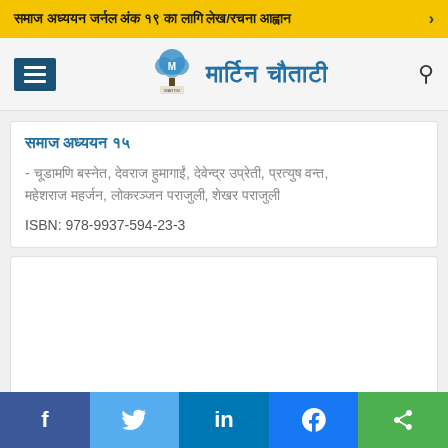समाज अध्ययन जर्नल अंक १९ का लागि लेख/रचना आह्वान ›
[Figure (logo): Martin Chautari website header with hamburger menu, tree logo, site title in Devanagari 'मार्टिन चौताटी', and search icon]
समाज अध्ययन १५
- चूडामणि बस्नेत, देवराज हुमागाईं, देवेन्द्र उप्रेती, प्रत्युष वन्त, महेशराज महर्जन, लोकरञ्जन पराजुली, शेखर पराजुली
ISBN: 978-9937-594-23-3
f  🐦  in  💬  ‹